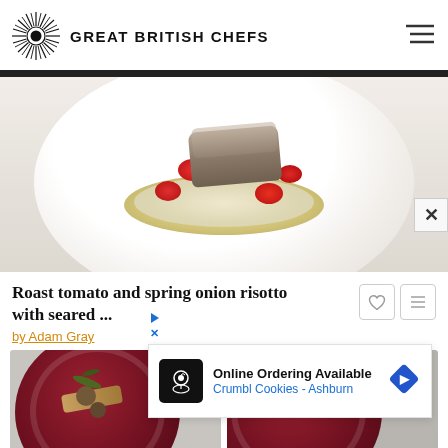GREAT BRITISH CHEFS
[Figure (photo): Close-up of a dish of roast tomato and spring onion risotto with seared fish on a white plate, garnished with cherry tomatoes]
Roast tomato and spring onion risotto with seared ...
by Adam Gray
[Figure (photo): Tagine of lamb dish on a dark burgundy plate, garnished with herbs]
[Figure (photo): Indian-style dish on a dark burgundy plate with yellow garnish and greens]
Tagine of lamb
Indian-style
[Figure (screenshot): Advertisement overlay: Online Ordering Available - Crumbl Cookies - Ashburn]